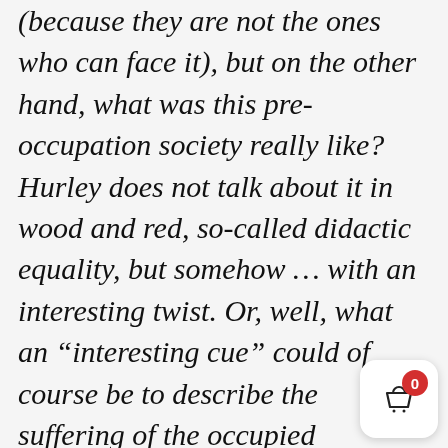(because they are not the ones who can face it), but on the other hand, what was this pre-occupation society really like? Hurley does not talk about it in wood and red, so-called didactic equality, but somehow … with an interesting twist. Or, well, what an “interesting cue” could of course be to describe the suffering of the occupied community; but at the same